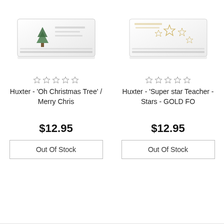[Figure (photo): Product photo of Huxter Oh Christmas Tree soap box with green Christmas tree illustration on white packaging]
[Figure (photo): Product photo of Huxter Super star Teacher Stars GOLD FO soap box with gold star illustrations on white packaging]
☆☆☆☆☆
Huxter - 'Oh Christmas Tree' / Merry Chris
☆☆☆☆☆
Huxter - 'Super star Teacher - Stars - GOLD FO
$12.95
Out Of Stock
$12.95
Out Of Stock